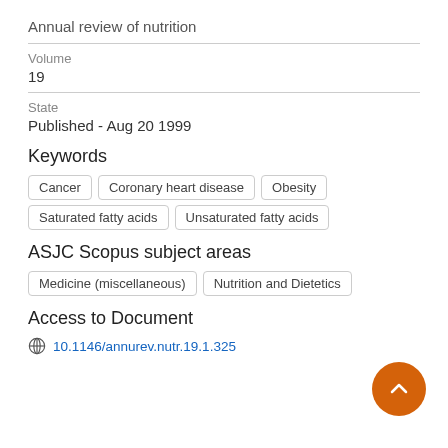Annual review of nutrition
Volume
19
State
Published - Aug 20 1999
Keywords
Cancer
Coronary heart disease
Obesity
Saturated fatty acids
Unsaturated fatty acids
ASJC Scopus subject areas
Medicine (miscellaneous)
Nutrition and Dietetics
Access to Document
10.1146/annurev.nutr.19.1.325